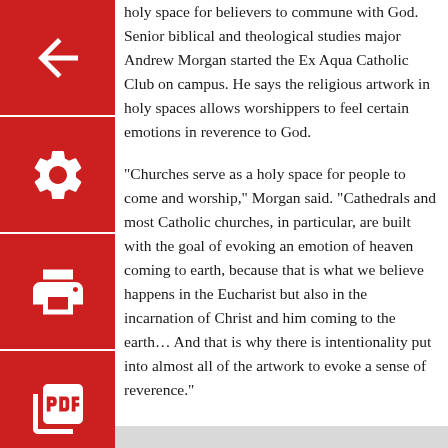holy space for believers to commune with God. Senior biblical and theological studies major Andrew Morgan started the Ex Aqua Catholic Club on campus. He says the religious artwork in holy spaces allows worshippers to feel certain emotions in reverence to God.
"Churches serve as a holy space for people to come and worship," Morgan said. "Cathedrals and most Catholic churches, in particular, are built with the goal of evoking an emotion of heaven coming to earth, because that is what we believe happens in the Eucharist but also in the incarnation of Christ and him coming to the earth… And that is why there is intentionality put into almost all of the artwork to evoke a sense of reverence."
Although the French cathedral was across the ocean for Morgan, being a member of the Catholic faith made the news of the damage much harder to hear.
"It was an overall feeling of heaviness and tears and I don't know why," Morgan said. "I've never been to Notre Dame. I've never studied it, but to see the space that was dedicated as holy be burned and ruined is sad. It resounds in our soul of holy spaces and how valuable they are."